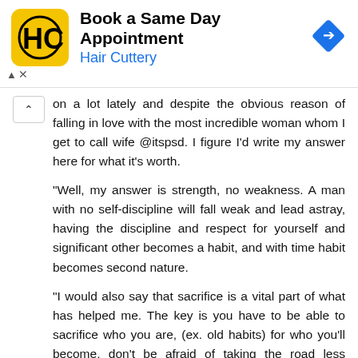[Figure (screenshot): Hair Cuttery advertisement banner: yellow logo with HC monogram, title 'Book a Same Day Appointment', subtitle 'Hair Cuttery' in blue, and a blue diamond navigation arrow icon on the right. Ad controls (up arrow and X) shown on left side.]
on a lot lately and despite the obvious reason of falling in love with the most incredible woman whom I get to call wife @itspsd. I figure I'd write my answer here for what it's worth.

"Well, my answer is strength, no weakness. A man with no self-discipline will fall weak and lead astray, having the discipline and respect for yourself and significant other becomes a habit, and with time habit becomes second nature.

"I would also say that sacrifice is a vital part of what has helped me. The key is you have to be able to sacrifice who you are, (ex. old habits) for who you'll become, don't be afraid of taking the road less traveled in the process. Hint: Find yourself spiritually. 🙏

"Lastly, your environment. I believe in the saying you are the